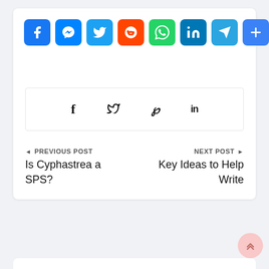[Figure (infographic): Row of social media share buttons: Facebook (blue), Messenger (blue), Twitter (light blue), Reddit (orange-red), WhatsApp (green), LinkedIn (blue), Telegram (cyan-blue), More/Share (blue plus sign)]
[Figure (infographic): Secondary social share bar with icons for Facebook (f), Twitter (bird), Pinterest (p), LinkedIn (in)]
◄ PREVIOUS POST
Is Cyphastrea a SPS?
NEXT POST ►
Key Ideas to Help Write